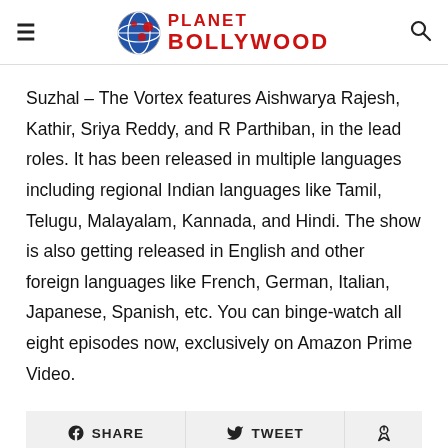Planet Bollywood
Suzhal – The Vortex features Aishwarya Rajesh, Kathir, Sriya Reddy, and R Parthiban, in the lead roles. It has been released in multiple languages including regional Indian languages like Tamil, Telugu, Malayalam, Kannada, and Hindi. The show is also getting released in English and other foreign languages like French, German, Italian, Japanese, Spanish, etc. You can binge-watch all eight episodes now, exclusively on Amazon Prime Video.